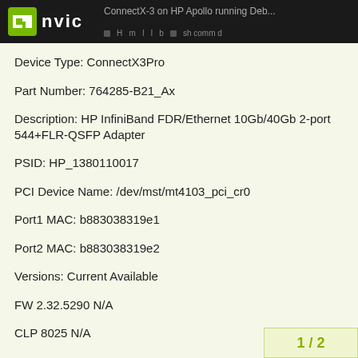ConnectX-3 on HP Apollo running Deb... | nvit
Device Type: ConnectX3Pro
Part Number: 764285-B21_Ax
Description: HP InfiniBand FDR/Ethernet 10Gb/40Gb 2-port 544+FLR-QSFP Adapter
PSID: HP_1380110017
PCI Device Name: /dev/mst/mt4103_pci_cr0
Port1 MAC: b883038319e1
Port2 MAC: b883038319e2
Versions: Current Available
FW 2.32.5290 N/A
CLP 8025 N/A
1 / 2